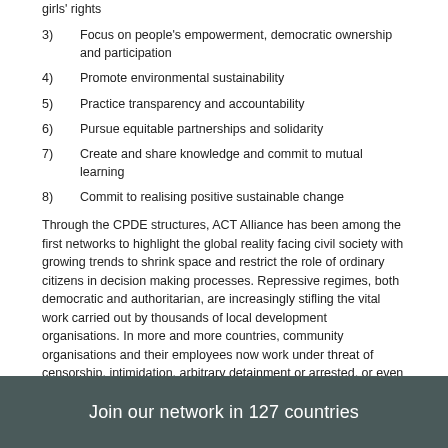girls' rights
3)    Focus on people's empowerment, democratic ownership and participation
4)    Promote environmental sustainability
5)    Practice transparency and accountability
6)    Pursue equitable partnerships and solidarity
7)    Create and share knowledge and commit to mutual learning
8)    Commit to realising positive sustainable change
Through the CPDE structures, ACT Alliance has been among the first networks to highlight the global reality facing civil society with growing trends to shrink space and restrict the role of ordinary citizens in decision making processes. Repressive regimes, both democratic and authoritarian, are increasingly stifling the vital work carried out by thousands of local development organisations. In more and more countries, community organisations and their employees now work under threat of censorship, intimidation, arbitrary detainment or arrested, or even torture and murder.
Join our network in 127 countries